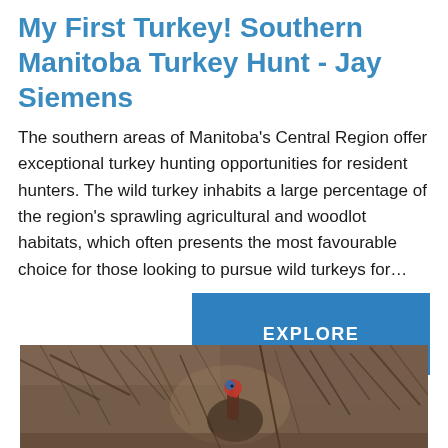My First Turkey! Southern Manitoba Turkey Hunt - Jay Siemens
The southern areas of Manitoba's Central Region offer exceptional turkey hunting opportunities for resident hunters. The wild turkey inhabits a large percentage of the region's sprawling agricultural and woodlot habitats, which often presents the most favourable choice for those looking to pursue wild turkeys for…
[Figure (other): A blue 'EXPLORE' button/call-to-action link element]
[Figure (photo): A wild turkey visible among bare winter brush and branches, showing its distinctive red and blue head]